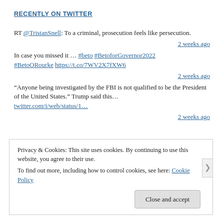RECENTLY ON TWITTER
RT @TristanSnell: To a criminal, prosecution feels like persecution.
2 weeks ago
In case you missed it … #beto #BetoforGovernor2022 #BetoORourke https://t.co/7WV2X7fXW6
2 weeks ago
“Anyone being investigated by the FBI is not qualified to be the President of the United States.” Trump said this… twitter.com/i/web/status/1…
2 weeks ago
Privacy & Cookies: This site uses cookies. By continuing to use this website, you agree to their use.
To find out more, including how to control cookies, see here: Cookie Policy